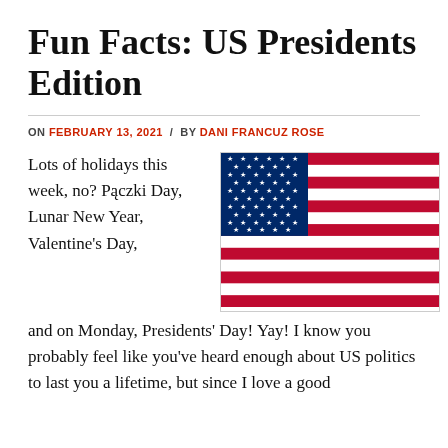Fun Facts: US Presidents Edition
ON FEBRUARY 13, 2021 / BY DANI FRANCUZ ROSE
Lots of holidays this week, no? Pączki Day, Lunar New Year, Valentine's Day,
[Figure (illustration): American flag with blue canton containing white stars and alternating red and white horizontal stripes]
and on Monday, Presidents' Day! Yay! I know you probably feel like you've heard enough about US politics to last you a lifetime, but since I love a good